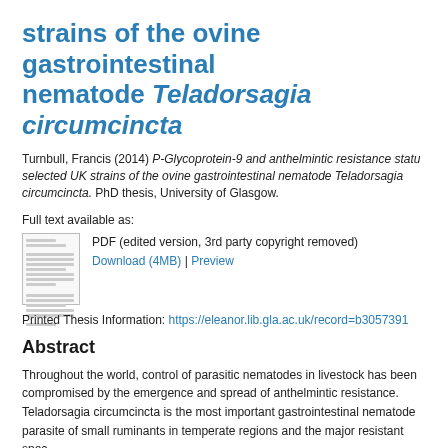strains of the ovine gastrointestinal nematode Teladorsagia circumcincta
Turnbull, Francis (2014) P-Glycoprotein-9 and anthelmintic resistance status of selected UK strains of the ovine gastrointestinal nematode Teladorsagia circumcincta. PhD thesis, University of Glasgow.
Full text available as:
[Figure (other): Thumbnail image of PDF document cover page]
PDF (edited version, 3rd party copyright removed)
Download (4MB) | Preview
Printed Thesis Information: https://eleanor.lib.gla.ac.uk/record=b3057391
Abstract
Throughout the world, control of parasitic nematodes in livestock has been compromised by the emergence and spread of anthelmintic resistance. Teladorsagia circumcincta is the most important gastrointestinal nematode parasite of small ruminants in temperate regions and the major resistant species in the United Kingdom (UK). In most cases the genetic factors which underpin